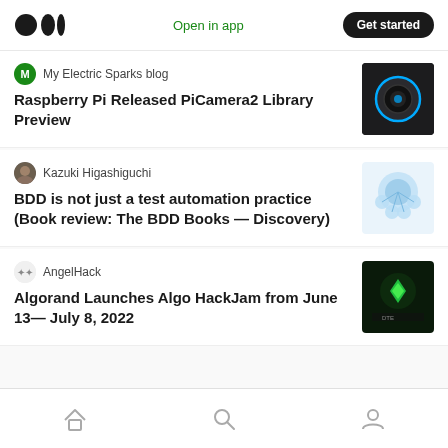Medium logo | Open in app | Get started
My Electric Sparks blog
Raspberry Pi Released PiCamera2 Library Preview
Kazuki Higashiguchi
BDD is not just a test automation practice (Book review: The BDD Books — Discovery)
AngelHack
Algorand Launches Algo HackJam from June 13— July 8, 2022
Home | Search | Profile